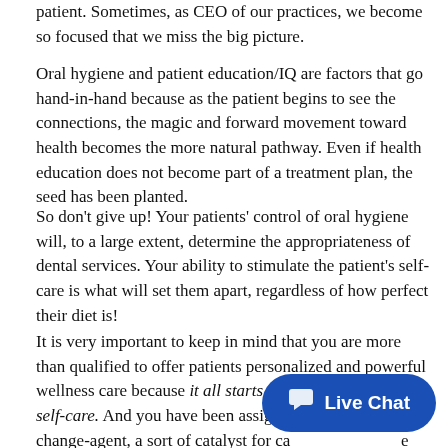patient. Sometimes, as CEO of our practices, we become so focused that we miss the big picture.
Oral hygiene and patient education/IQ are factors that go hand-in-hand because as the patient begins to see the connections, the magic and forward movement toward health becomes the more natural pathway. Even if health education does not become part of a treatment plan, the seed has been planted.
So don't give up! Your patients' control of oral hygiene will, to a large extent, determine the appropriateness of dental services. Your ability to stimulate the patient's self-care is what will set them apart, regardless of how perfect their diet is!
It is very important to keep in mind that you are more than qualified to offer patients personalized and powerful wellness care because it all starts with the patient's own self-care. And you have been assigned the role of being a change-agent, a sort of catalyst for care more than dentistry for patients to learn to own health!